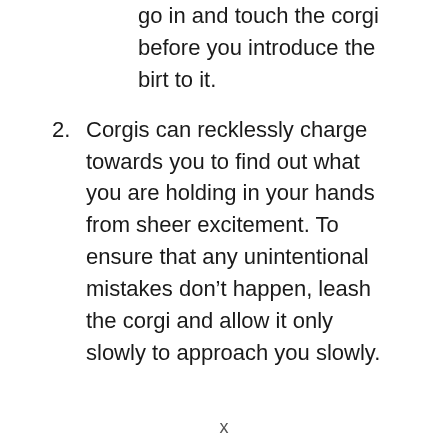go in and touch the corgi before you introduce the birt to it.
2. Corgis can recklessly charge towards you to find out what you are holding in your hands from sheer excitement. To ensure that any unintentional mistakes don’t happen, leash the corgi and allow it only slowly to approach you slowly.
x